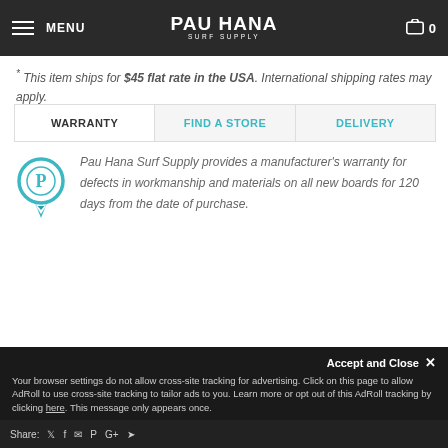MENU | PAU HANA SURF SUPPLY | 0
* This item ships for $45 flat rate in the USA. International shipping rates may apply.
| WARRANTY | FIND A STORE | DELIVERY |
| --- | --- | --- |
Pau Hana Surf Supply provides a manufacturer's warranty for defects in workmanship and materials on all new boards for 120 days from the date of purchase.
For full details CLICK HERE
Accept and Close ✕
Your browser settings do not allow cross-site tracking for advertising. Click on this page to allow AdRoll to use cross-site tracking to tailor ads to you. Learn more or opt out of this AdRoll tracking by clicking here. This message only appears once.